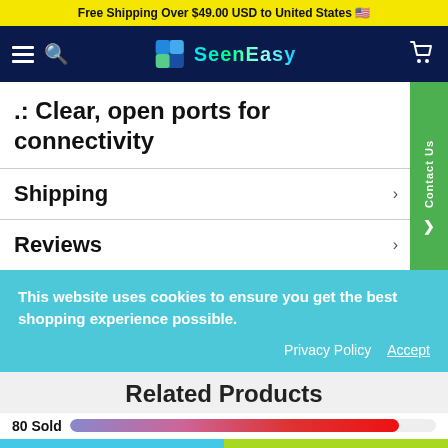Free Shipping Over $49.00 USD to United States 🇺🇸
[Figure (logo): SeenEasy store navigation bar with hamburger menu, search icon, SeenEasy logo, and cart icon on dark navy background]
.: Clear, open ports for connectivity
Shipping
Reviews
This website uses cookies to ensure you get the best shopping experience possible.
Privacy Policy  Accept
Related Products
80 Sold
+ Add To Cart
+ Buy Now